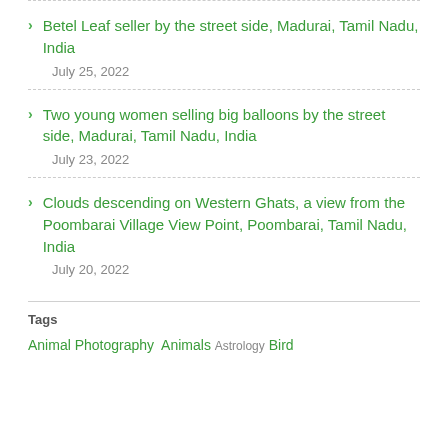Betel Leaf seller by the street side, Madurai, Tamil Nadu, India
July 25, 2022
Two young women selling big balloons by the street side, Madurai, Tamil Nadu, India
July 23, 2022
Clouds descending on Western Ghats, a view from the Poombarai Village View Point, Poombarai, Tamil Nadu, India
July 20, 2022
Tags
Animal Photography Animals Astrology Bird